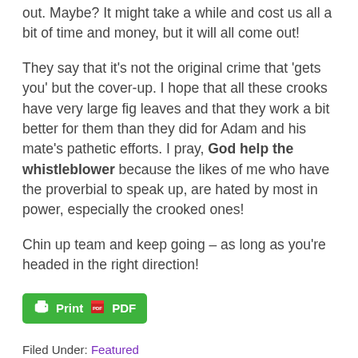out. Maybe? It might take a while and cost us all a bit of time and money, but it will all come out!
They say that it's not the original crime that 'gets you' but the cover-up. I hope that all these crooks have very large fig leaves and that they work a bit better for them than they did for Adam and his mate's pathetic efforts. I pray, God help the whistleblower because the likes of me who have the proverbial to speak up, are hated by most in power, especially the crooked ones!
Chin up team and keep going – as long as you're headed in the right direction!
[Figure (other): Green Print and PDF button]
Filed Under: Featured